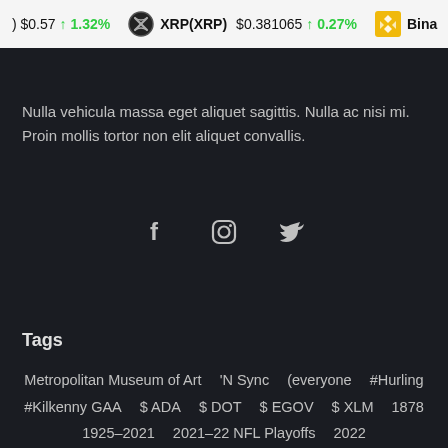) $0.57 ↑ 1.32%   XRP(XRP) $0.381065 ↑ 0.27%   Bina
Nulla vehicula massa eget aliquet sagittis. Nulla ac nisi mi. Proin mollis tortor non elit aliquet convallis.
[Figure (illustration): Social media icons: Facebook (f), Instagram (camera), Twitter (bird)]
Tags
Metropolitan Museum of Art   'N Sync   (everyone   #Hurling   #Kilkenny GAA   $ ADA   $ DOT   $ EGOV   $ XLM   1878   1925–2021   2021–22 NFL Playoffs   2022   2022 summer solstice   24-hour blockchain hackathon in Bengaluru   3ac   3DS